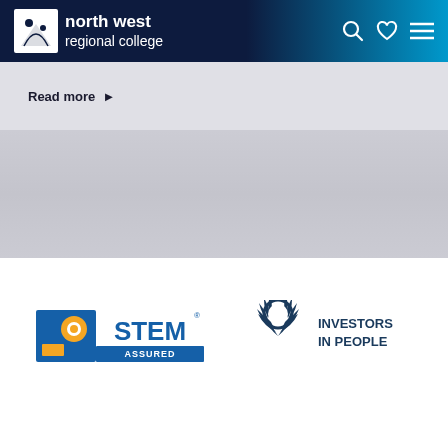north west regional college
Read more
[Figure (logo): STEM Assured logo with blue and orange design]
[Figure (logo): Investors in People logo with laurel wreath]